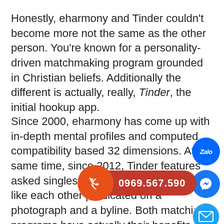Honestly, eharmony and Tinder couldn't become more not the same as the other person. You're known for a personality-driven matchmaking program grounded in Christian beliefs. Additionally the different is actually, really, Tinder, the initial hookup app.
Since 2000, eharmony has come up with in-depth mental profiles and computed compatibility based 32 dimensions. At the same time, since 2012, Tinder features asked singles to choose as long as they like each other predicated on a photograph and a byline. Both matching programs have actually their benefits and drawbacks, so it may be difficult know which one is perfect for you. For this reason we've separated the stats and s...f our expert assessment how eharmony...the other pe...